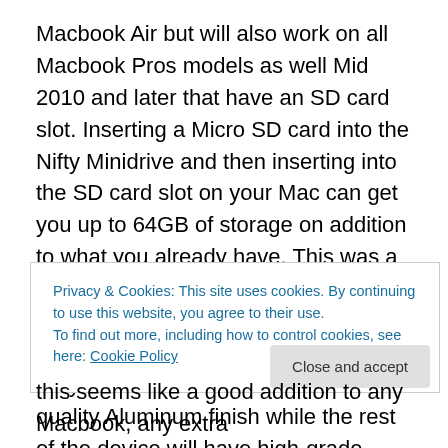Macbook Air but will also work on all Macbook Pros models as well Mid 2010 and later that have an SD card slot. Inserting a Micro SD card into the Nifty Minidrive and then inserting into the SD card slot on your Mac can get you up to 64GB of storage on addition to what you already have. This was a designed to be plugged in and left installed and to add extra storage instead of using an external HDD. The Nifty Minidrive will have a Macbook quality Aluminum finish while the rest of the device will have high-grade plastic. Since the Nifty mini drive sits flush with the laptop when inserted, an eyelet has been
Privacy & Cookies: This site uses cookies. By continuing to use this website, you agree to their use. To find out more, including how to control cookies, see here: Cookie Policy
this seems like a good addition to any Macbook, any extra